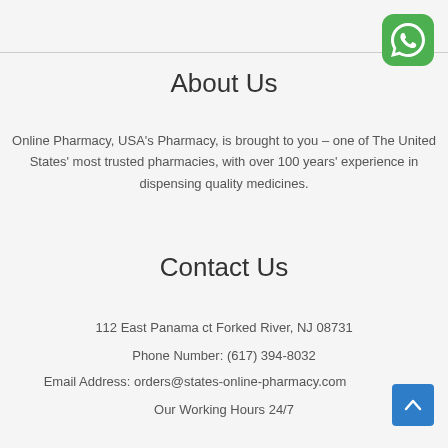[Figure (logo): WhatsApp logo - green rounded square with white phone icon]
About Us
Online Pharmacy, USA's Pharmacy, is brought to you – one of The United States' most trusted pharmacies, with over 100 years' experience in dispensing quality medicines.
Contact Us
112 East Panama ct Forked River, NJ 08731
Phone Number: (617) 394-8032
Email Address: orders@states-online-pharmacy.com
Our Working Hours 24/7
[Figure (other): Scroll-to-top button, blue rounded square with upward chevron arrow]